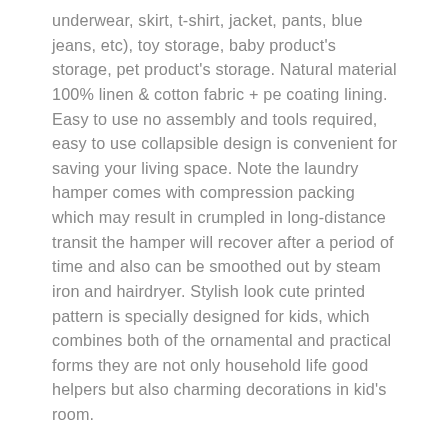underwear, skirt, t-shirt, jacket, pants, blue jeans, etc), toy storage, baby product's storage, pet product's storage. Natural material 100% linen & cotton fabric + pe coating lining. Easy to use no assembly and tools required, easy to use collapsible design is convenient for saving your living space. Note the laundry hamper comes with compression packing which may result in crumpled in long-distance transit the hamper will recover after a period of time and also can be smoothed out by steam iron and hairdryer. Stylish look cute printed pattern is specially designed for kids, which combines both of the ornamental and practical forms they are not only household life good helpers but also charming decorations in kid's room.